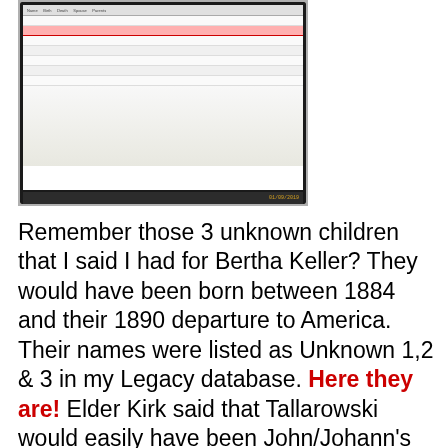[Figure (screenshot): Photo of a computer screen showing a spreadsheet or database table with rows highlighted in red/pink. A red arrow points to a highlighted row. A timestamp appears in the bottom-right corner of the screen reading 01/09/2019.]
Remember those 3 unknown children that I said I had for Bertha Keller?  They would have been born between 1884 and their 1890 departure to America.  Their names were listed as Unknown 1,2 & 3 in my Legacy database.  Here they are!  Elder Kirk said that Tallarowski would easily have been John/Johann's actual surname.  That when pronounced the first part of the